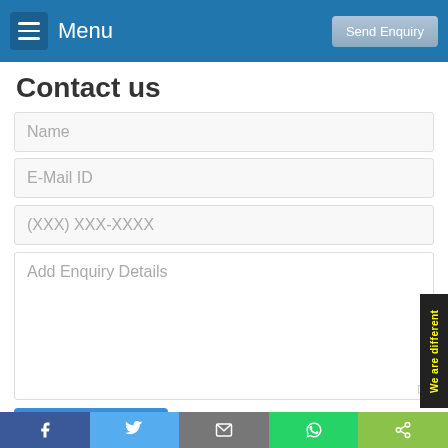Menu  Send Enquiry
Contact us
Name
E-Mail ID
(XXX) XXX-XXXX
Add Enquiry Details
SEND ENQUIRY
We are different
f  twitter  email  whatsapp  share